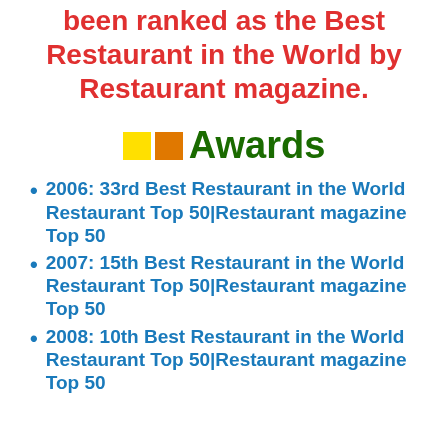been ranked as the Best Restaurant in the World by Restaurant magazine.
Awards
2006: 33rd Best Restaurant in the World Restaurant Top 50|Restaurant magazine Top 50
2007: 15th Best Restaurant in the World Restaurant Top 50|Restaurant magazine Top 50
2008: 10th Best Restaurant in the World Restaurant Top 50|Restaurant magazine Top 50